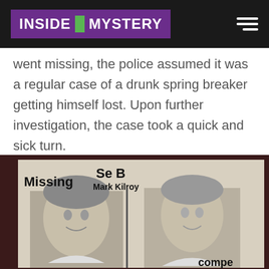INSIDE MYSTERY
went missing, the police assumed it was a regular case of a drunk spring breaker getting himself lost. Upon further investigation, the case took a quick and sick turn.
[Figure (photo): Black and white missing persons flyer showing two photos of Mark Kilroy, with text 'Missing Se Bu... Mark Kilroy' visible]